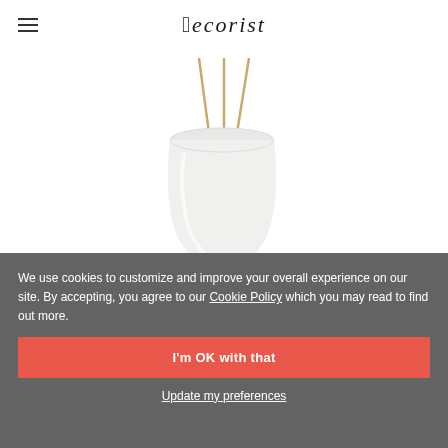decorist
[Figure (photo): White ceramic hanging planter pot suspended by natural rope/twine cords against a white background]
We use cookies to customize and improve your overall experience on our site. By accepting, you agree to our Cookie Policy which you may read to find out more.
I'm OK with that
Update my preferences
VIEW ADVICE